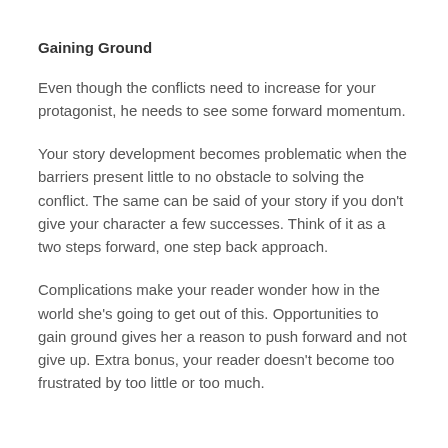Gaining Ground
Even though the conflicts need to increase for your protagonist, he needs to see some forward momentum.
Your story development becomes problematic when the barriers present little to no obstacle to solving the conflict. The same can be said of your story if you don't give your character a few successes. Think of it as a two steps forward, one step back approach.
Complications make your reader wonder how in the world she's going to get out of this. Opportunities to gain ground gives her a reason to push forward and not give up. Extra bonus, your reader doesn't become too frustrated by too little or too much.